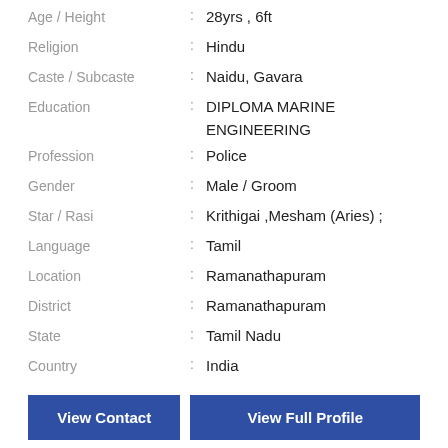Age / Height : 28yrs , 6ft
Religion : Hindu
Caste / Subcaste : Naidu, Gavara
Education : DIPLOMA MARINE ENGINEERING
Profession : Police
Gender : Male / Groom
Star / Rasi : Krithigai ,Mesham (Aries) ;
Language : Tamil
Location : Ramanathapuram
District : Ramanathapuram
State : Tamil Nadu
Country : India
View Contact
View Full Profile
[Figure (photo): Portrait photo of a man with dark hair against a blue gradient background]
Top